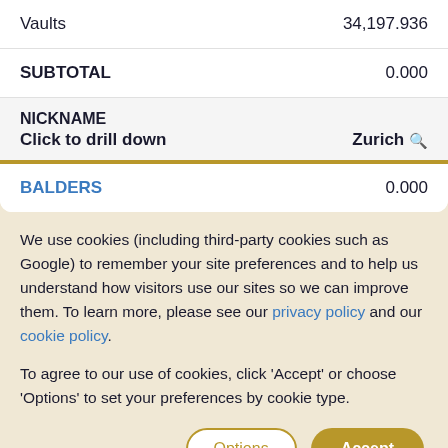| Item | Value |
| --- | --- |
| Vaults | 34,197.936 |
| SUBTOTAL | 0.000 |
| NICKNAME |  |
| --- | --- |
| Click to drill down | Zurich 🔍 |
| BALDERS | 0.000 |
We use cookies (including third-party cookies such as Google) to remember your site preferences and to help us understand how visitors use our sites so we can improve them. To learn more, please see our privacy policy and our cookie policy.
To agree to our use of cookies, click 'Accept' or choose 'Options' to set your preferences by cookie type.